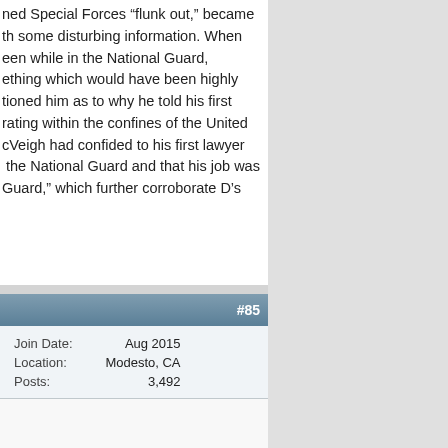ned Special Forces “flunk out,” became th some disturbing information. When een while in the National Guard, ething which would have been highly tioned him as to why he told his first rating within the confines of the United cVeigh had confided to his first lawyer the National Guard and that his job was Guard,” which further corroborate D’s
#85
| Field | Value |
| --- | --- |
| Join Date: | Aug 2015 |
| Location: | Modesto, CA |
| Posts: | 3,492 |
e for posting my really bad taste OP. I do